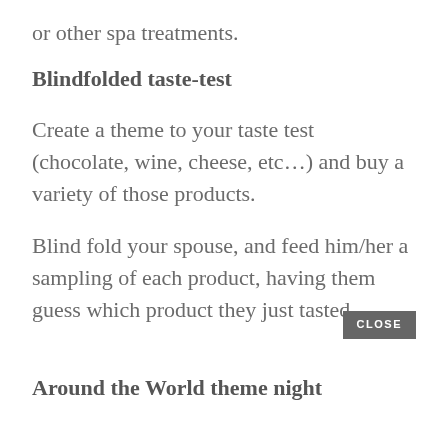or other spa treatments.
Blindfolded taste-test
Create a theme to your taste test (chocolate, wine, cheese, etc…) and buy a variety of those products.
Blind fold your spouse, and feed him/her a sampling of each product, having them guess which product they just tasted.
Around the World theme night